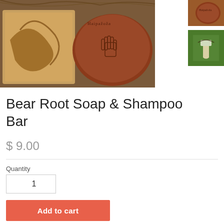[Figure (photo): Product photo of Bear Root Soap bars — two handmade soap bars with stamped/branded markings, showing golden-brown and reddish-brown coloration]
[Figure (photo): Small thumbnail image of soap bars from different angle]
[Figure (photo): Small thumbnail image showing a hand holding something outdoors with green background]
Bear Root Soap & Shampoo Bar
$ 9.00
Quantity
1
Add to cart
Bear Root (also known as Osha Root) Hot Process Soap & Shampoo Bar has a very mild scent, but is a